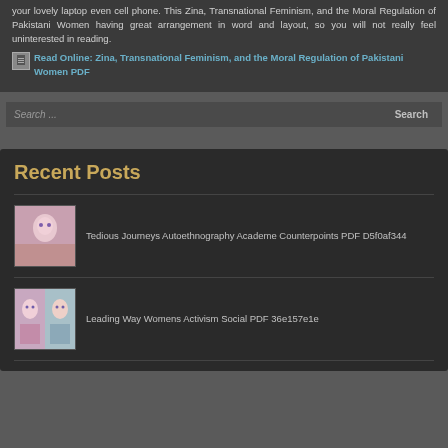your lovely laptop even cell phone. This Zina, Transnational Feminism, and the Moral Regulation of Pakistani Women having great arrangement in word and layout, so you will not really feel uninterested in reading.
Read Online: Zina, Transnational Feminism, and the Moral Regulation of Pakistani Women PDF
Search ...
Recent Posts
Tedious Journeys Autoethnography Academe Counterpoints PDF D5f0af344
Leading Way Womens Activism Social PDF 36e157e1e